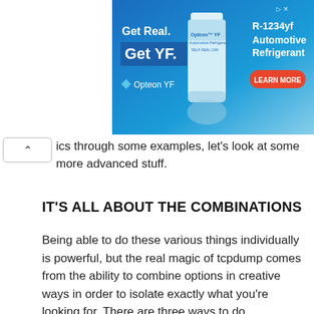[Figure (advertisement): Opteon YF R-1234yf Automotive Refrigerant advertisement banner with blue background, product bottle image, 'Get Real. Get YF.' text, Opteon YF logo, and 'LEARN MORE' red button.]
ics through some examples, let's look at some more advanced stuff.
IT'S ALL ABOUT THE COMBINATIONS
Being able to do these various things individually is powerful, but the real magic of tcpdump comes from the ability to combine options in creative ways in order to isolate exactly what you're looking for. There are three ways to do combinations, and if you've studied programming at all they'll be pretty familiar to you.